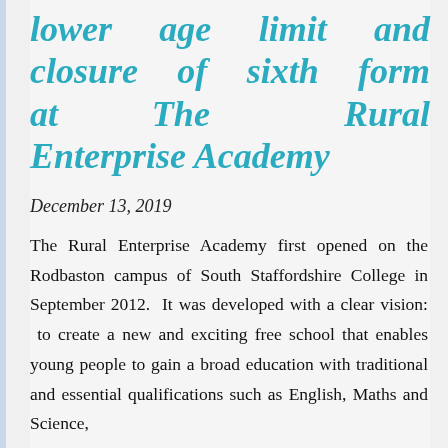lower age limit and closure of sixth form at The Rural Enterprise Academy
December 13, 2019
The Rural Enterprise Academy first opened on the Rodbaston campus of South Staffordshire College in September 2012.  It was developed with a clear vision:  to create a new and exciting free school that enables young people to gain a broad education with traditional and essential qualifications such as English, Maths and Science,